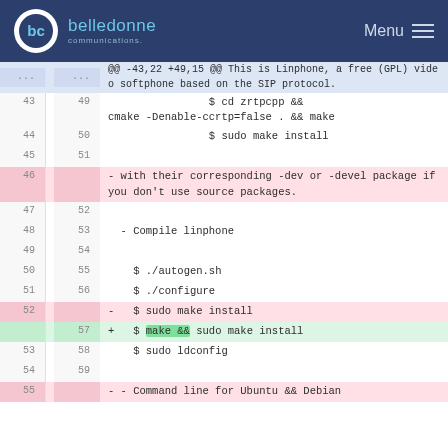belledonne communications — Menu
[Figure (screenshot): Git diff view showing code changes. Hunk header -43,22 +49,15. Lines 43-54 context/deleted/added showing shell commands for zrtpcpp cmake build, sudo make install, source packages message, Compile linphone, autogen.sh, configure, sudo make install replaced by make && sudo make install, sudo ldconfig, and Command line for Ubuntu && Debian.]